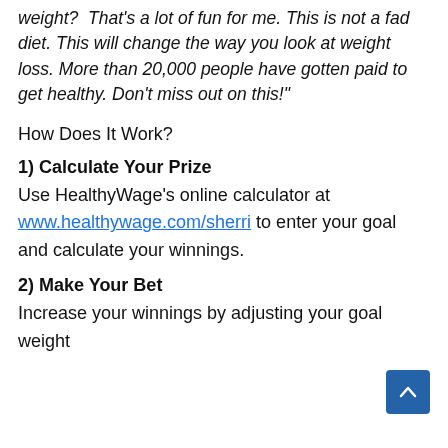weight?  That's a lot of fun for me. This is not a fad diet. This will change the way you look at weight loss. More than 20,000 people have gotten paid to get healthy. Don't miss out on this!"
How Does It Work?
1) Calculate Your Prize
Use HealthyWage's online calculator at www.healthywage.com/sherri to enter your goal and calculate your winnings.
2) Make Your Bet
Increase your winnings by adjusting your goal weight